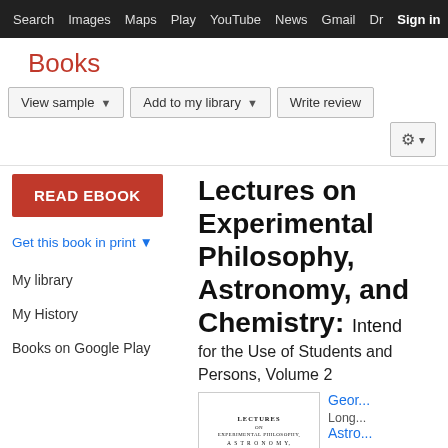Search  Images  Maps  Play  YouTube  News  Gmail  Dr  Sign in  More  ⚙
Books
View sample ▼   Add to my library ▼   Write review   ⚙ ▾
[Figure (screenshot): READ EBOOK button (red)]
Get this book in print ▼
My library
My History
Books on Google Play
Lectures on Experimental Philosophy, Astronomy, and Chemistry: Intend for the Use of Students and Persons, Volume 2
[Figure (photo): Thumbnail of book cover showing title page: LECTURES ON EXPERIMENTAL PHILOSOPHY, ASTRONOMY, AND CHEMISTRY; by G. GREGORY, D.D.]
Geor... Long... Astro... ★★ 0 Rev...